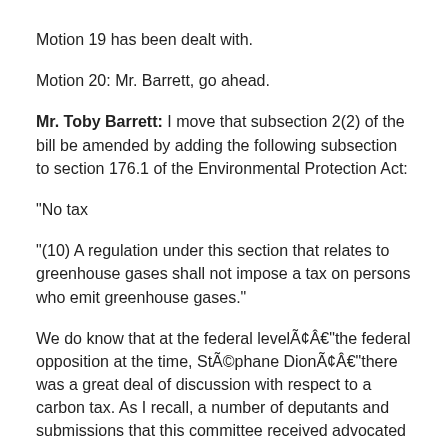Motion 19 has been dealt with.
Motion 20: Mr. Barrett, go ahead.
Mr. Toby Barrett: I move that subsection 2(2) of the bill be amended by adding the following subsection to section 176.1 of the Environmental Protection Act:
"No tax
"(10) A regulation under this section that relates to greenhouse gases shall not impose a tax on persons who emit greenhouse gases."
We do know that at the federal levelÃ¢Â€"the federal opposition at the time, StÃ©phane DionÃ¢Â€"there was a great deal of discussion with respect to a carbon tax. As I recall, a number of deputants and submissions that this committee received advocated a carbon tax rather than a cap-and-trade system. A carbon tax is normally very